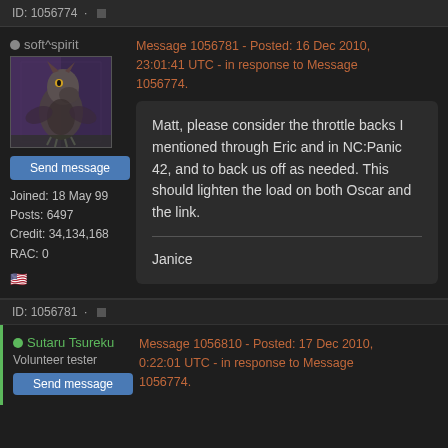ID: 1056774 · ■
soft^spirit
[Figure (photo): Avatar image showing a stylized dragon or creature on a dark purple/grey background]
Send message
Joined: 18 May 99
Posts: 6497
Credit: 34,134,168
RAC: 0
Message 1056781 - Posted: 16 Dec 2010, 23:01:41 UTC - in response to Message 1056774.
Matt, please consider the throttle backs I mentioned through Eric and in NC:Panic 42, and to back us off as needed. This should lighten the load on both Oscar and the link.

—

Janice
ID: 1056781 · ■
Sutaru Tsureku
Volunteer tester
Message 1056810 - Posted: 17 Dec 2010, 0:22:01 UTC - in response to Message 1056774.